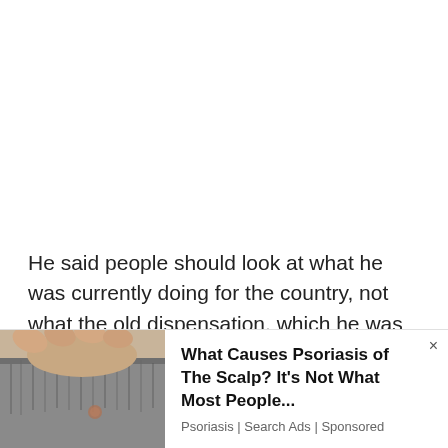He said people should look at what he was currently doing for the country, not what the old dispensation, which he was also part of, did.
[Figure (photo): Close-up photo of a person's scalp showing gray hair, with hands touching the scalp area]
What Causes Psoriasis of The Scalp? It's Not What Most People... Psoriasis | Search Ads | Sponsored